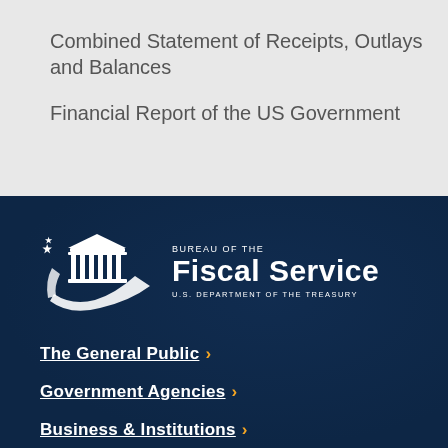Combined Statement of Receipts, Outlays and Balances
Financial Report of the US Government
[Figure (logo): Bureau of the Fiscal Service, U.S. Department of the Treasury logo — white building icon with star and swoosh on dark navy background]
The General Public ›
Government Agencies ›
Business & Institutions ›